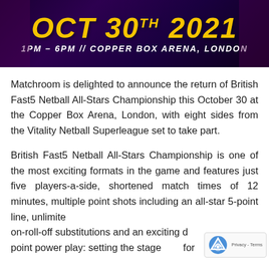[Figure (illustration): Event banner with dark purple background showing 'OCT 30th 2021' in large gold italic text and '1PM - 6PM // COPPER BOX ARENA, LONDON' in white below]
Matchroom is delighted to announce the return of British Fast5 Netball All-Stars Championship this October 30 at the Copper Box Arena, London, with eight sides from the Vitality Netball Superleague set to take part.
British Fast5 Netball All-Stars Championship is one of the most exciting formats in the game and features just five players-a-side, shortened match times of 12 minutes, multiple point shots including an all-star 5-point line, unlimited roll-on-roll-off substitutions and an exciting double point power play: setting the stage for